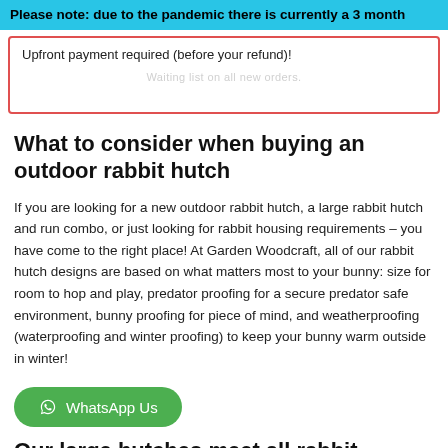Please note: due to the pandemic there is currently a 3 month
Upfront payment required (before your refund)!
Waiting list on all new orders.
What to consider when buying an outdoor rabbit hutch
If you are looking for a new outdoor rabbit hutch, a large rabbit hutch and run combo, or just looking for rabbit housing requirements – you have come to the right place! At Garden Woodcraft, all of our rabbit hutch designs are based on what matters most to your bunny: size for room to hop and play, predator proofing for a secure predator safe environment, bunny proofing for piece of mind, and weatherproofing (waterproofing and winter proofing) to keep your bunny warm outside in winter!
[Figure (other): WhatsApp Us button (green rounded button with WhatsApp icon)]
Our large hutches meet all rabbit housing